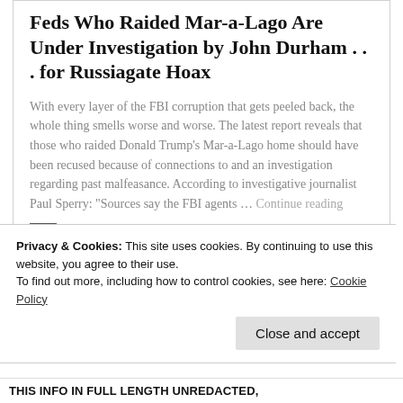Feds Who Raided Mar-a-Lago Are Under Investigation by John Durham . . . for Russiagate Hoax
With every layer of the FBI corruption that gets peeled back, the whole thing smells worse and worse. The latest report reveals that those who raided Donald Trump's Mar-a-Lago home should have been recused because of connections to and an investigation regarding past malfeasance. According to investigative journalist Paul Sperry: "Sources say the FBI agents … Continue reading
Privacy & Cookies: This site uses cookies. By continuing to use this website, you agree to their use. To find out more, including how to control cookies, see here: Cookie Policy
Close and accept
THIS INFO IN FULL LENGTH UNREDACTED,